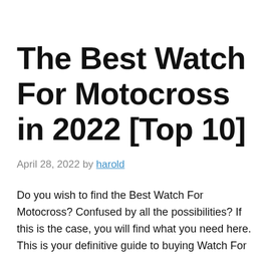The Best Watch For Motocross in 2022 [Top 10]
April 28, 2022 by harold
Do you wish to find the Best Watch For Motocross? Confused by all the possibilities? If this is the case, you will find what you need here. This is your definitive guide to buying Watch For